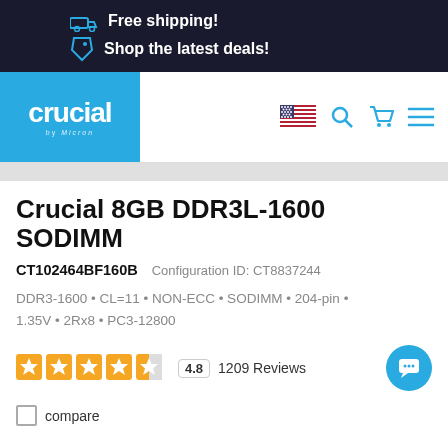Free shipping! Shop the latest deals!
[Figure (logo): Crucial by Micron logo in blue box, navigation bar with US flag, search, cart, and menu icons]
Crucial 8GB DDR3L-1600 SODIMM
CT102464BF160B  Configuration ID: CT8837244
DDR3-1600 • CL=11 • NON-ECC • SODIMM • 204-pin • 1.35V • 2Rx8 • PC3-12800
4.8  1209 Reviews
compare